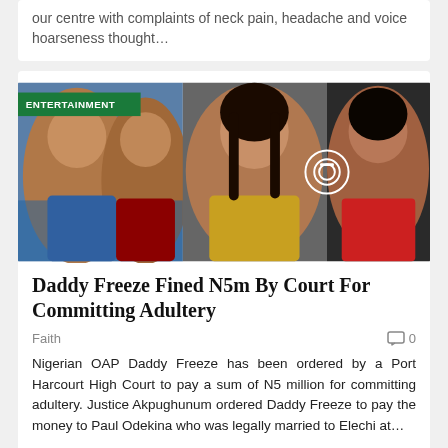our centre with complaints of neck pain, headache and voice hoarseness thought…
[Figure (photo): Photo collage of three women with ENTERTAINMENT label badge and camera icon overlay]
Daddy Freeze Fined N5m By Court For Committing Adultery
Faith   0
Nigerian OAP Daddy Freeze has been ordered by a Port Harcourt High Court to pay a sum of N5 million for committing adultery. Justice Akpughunum ordered Daddy Freeze to pay the money to Paul Odekina who was legally married to Elechi at…